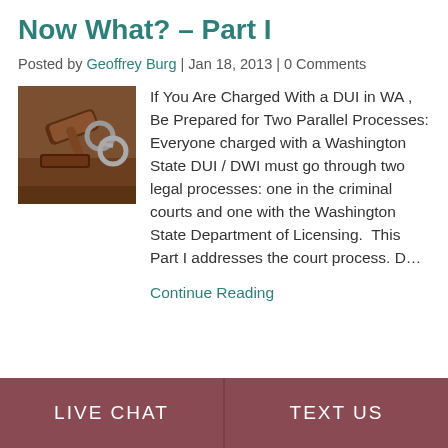Now What? – Part I
Posted by Geoffrey Burg | Jan 18, 2013 | 0 Comments
[Figure (photo): Photo of a judge's gavel and handcuffs on a wooden surface]
If You Are Charged With a DUI in WA , Be Prepared for Two Parallel Processes: Everyone charged with a Washington State DUI / DWI must go through two legal processes: one in the criminal courts and one with the Washington State Department of Licensing.  This Part I addresses the court process. D…
Continue Reading
LIVE CHAT   TEXT US